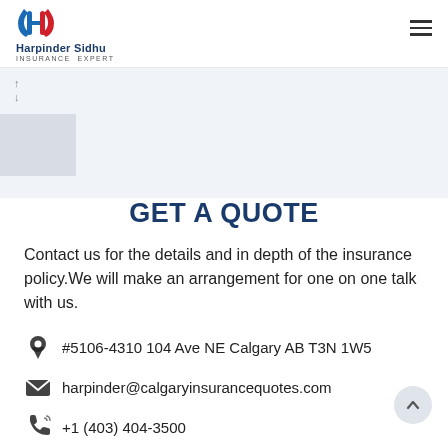Harpinder Sidhu INSURANCE EXPERT
GET A QUOTE
Contact us for the details and in depth of the insurance policy.We will make an arrangement for one on one talk with us.
#5106-4310 104 Ave NE Calgary AB T3N 1W5
harpinder@calgaryinsurancequotes.com
+1 (403) 404-3500